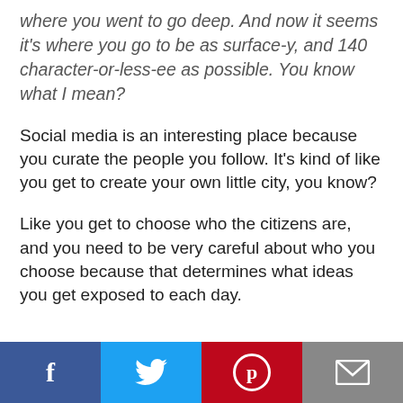where you went to go deep. And now it seems it's where you go to be as surface-y, and 140 character-or-less-ee as possible. You know what I mean?
Social media is an interesting place because you curate the people you follow. It's kind of like you get to create your own little city, you know?
Like you get to choose who the citizens are, and you need to be very careful about who you choose because that determines what ideas you get exposed to each day.
[Figure (infographic): Social sharing bar with four buttons: Facebook (dark blue, f icon), Twitter (light blue, bird icon), Pinterest (red, p circle icon), Email (grey, envelope icon)]